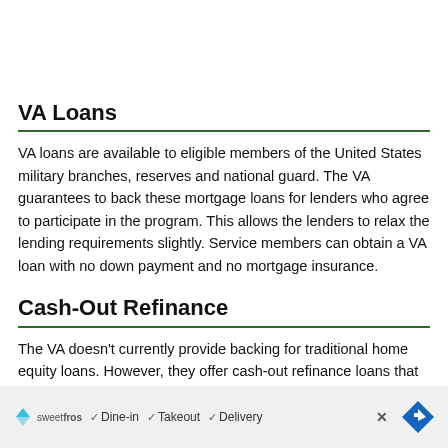VA Loans
VA loans are available to eligible members of the United States military branches, reserves and national guard. The VA guarantees to back these mortgage loans for lenders who agree to participate in the program. This allows the lenders to relax the lending requirements slightly. Service members can obtain a VA loan with no down payment and no mortgage insurance.
Cash-Out Refinance
The VA doesn't currently provide backing for traditional home equity loans. However, they offer cash-out refinance loans that are used to tap into your home's equity value. This type of loan is not a second mortgage and then ... A cash-